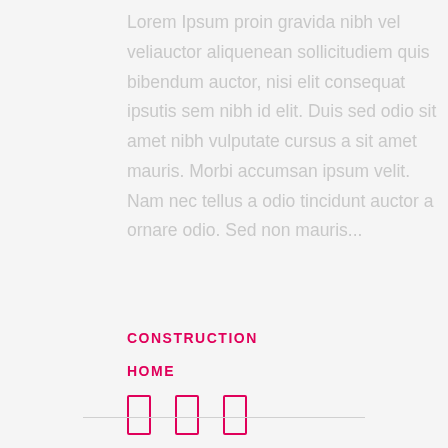Lorem Ipsum proin gravida nibh vel veliauctor aliquenean sollicitudiem quis bibendum auctor, nisi elit consequat ipsutis sem nibh id elit. Duis sed odio sit amet nibh vulputate cursus a sit amet mauris. Morbi accumsan ipsum velit. Nam nec tellus a odio tincidunt auctor a ornare odio. Sed non mauris...
CONSTRUCTION
HOME
[Figure (illustration): Three pink/magenta rectangular icon shapes arranged in a row]